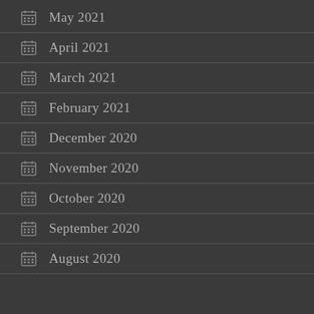May 2021
April 2021
March 2021
February 2021
December 2020
November 2020
October 2020
September 2020
August 2020